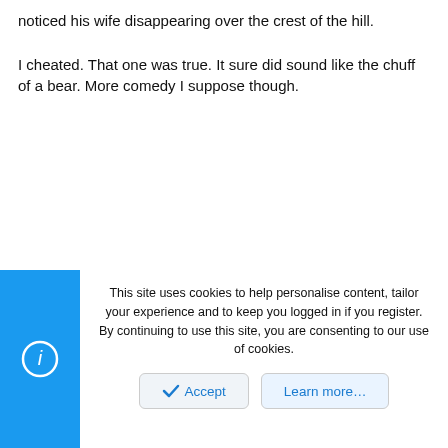noticed his wife disappearing over the crest of the hill.

I cheated. That one was true. It sure did sound like the chuff of a bear. More comedy I suppose though.
This site uses cookies to help personalise content, tailor your experience and to keep you logged in if you register.
By continuing to use this site, you are consenting to our use of cookies.